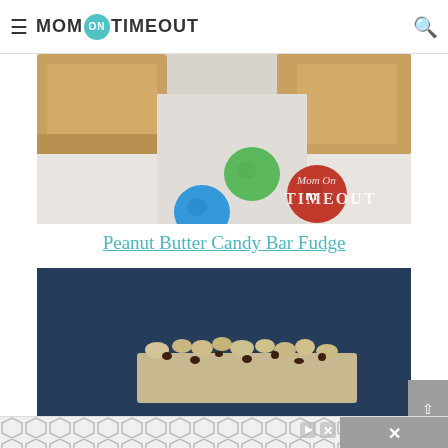Mom On Timeout
[Figure (photo): Close-up photo of peanut butter fudge bars with M&M candies (green, red, blue) scattered on a white surface, with Mom On Timeout watermark in bottom right.]
Peanut Butter Candy Bar Fudge
[Figure (photo): Photo of a crumbly oat and chocolate chip bar on a dark navy blue background.]
[Figure (other): Advertisement banner with geometric hexagon pattern and close button.]